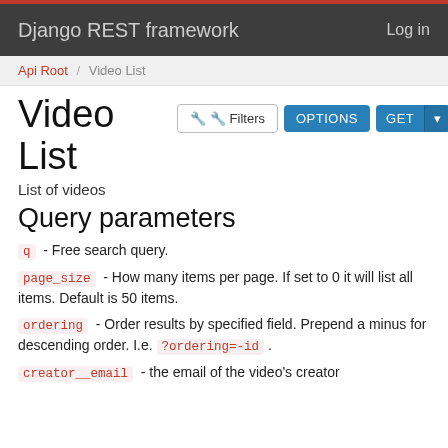Django REST framework   Log in
Api Root / Video List
Video List
List of videos
Query parameters
q - Free search query.
page_size - How many items per page. If set to 0 it will list all items. Default is 50 items.
ordering - Order results by specified field. Prepend a minus for descending order. I.e. ?ordering=-id .
creator__email - the email of the video's creator